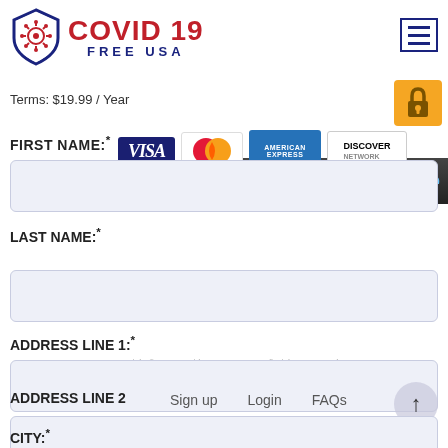[Figure (logo): COVID 19 FREE USA logo with shield icon on left and red COVID 19 text with blue FREE USA text on right]
[Figure (screenshot): Powered by Stripe dark banner with blue Stripe text, orange lock icon, and credit card logos: VISA, MasterCard, American Express, Discover Network]
Terms: $19.99 / Year
FIRST NAME:*
LAST NAME:*
ADDRESS LINE 1:*
ADDRESS LINE 2:
CITY:*
Copyright © 2021 Covid19... All Rights Reserved